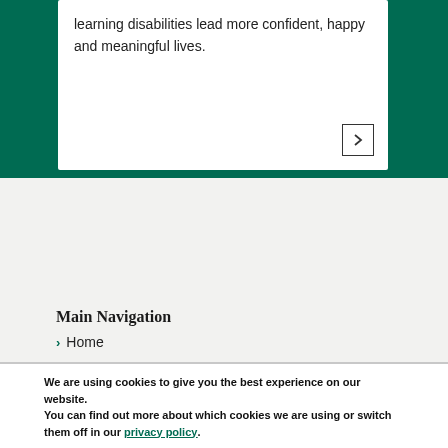learning disabilities lead more confident, happy and meaningful lives.
[Figure (other): Arrow button with right-pointing chevron inside a square border]
Main Navigation
Home
We are using cookies to give you the best experience on our website.
You can find out more about which cookies we are using or switch them off in our privacy policy.
Accept